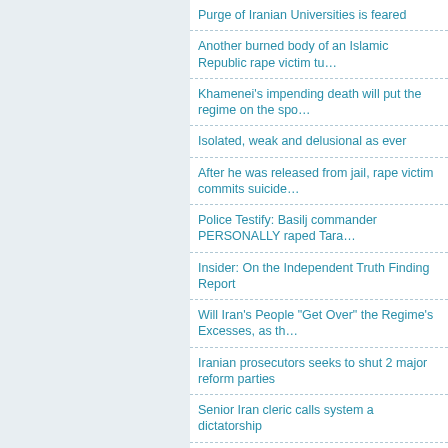Purge of Iranian Universities is feared
Another burned body of an Islamic Republic rape victim tu…
Khamenei's impending death will put the regime on the spo…
Isolated, weak and delusional as ever
After he was released from jail, rape victim commits suicide…
Police Testify: Basilj commander PERSONALLY raped Tara…
Insider: On the Independent Truth Finding Report
Will Iran's People "Get Over" the Regime's Excesses, as th…
Iranian prosecutors seeks to shut 2 major reform parties
Senior Iran cleric calls system a dictatorship
Khamenei's Victims May Provide Organs for Regime Supp…
If Rafsanjani, Khamenei, Moussavi and Karroubi are arrest…
The Tehran Trial: The Regime Goes After the Reformists A…
Copying Nazi Germany, Soviets or China may not save Ira…
The Iran Show
The Next Election: A Mere Boycott Won't Suffice
Iran: Government Says, "Overweight? Try Prison"